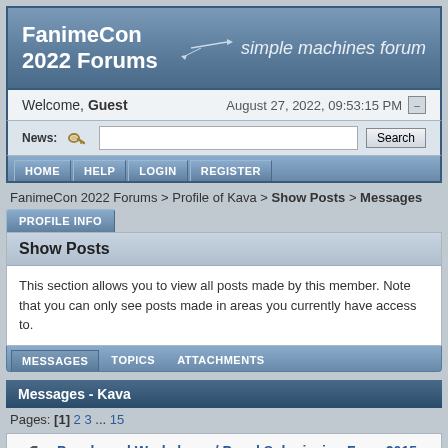FanimeCon 2022 Forums — simple machines forum
Welcome, Guest    August 27, 2022, 09:53:15 PM
News:  [search bar]  Search
HOME  HELP  LOGIN  REGISTER
FanimeCon 2022 Forums > Profile of Kava > Show Posts > Messages
PROFILE INFO
Show Posts
This section allows you to view all posts made by this member. Note that you can only see posts made in areas you currently have access to.
MESSAGES  TOPICS  ATTACHMENTS
Messages - Kava
Pages: [1] 2 3 ... 15
1  Panels and Workshops / Panel Submission Form 2015 - Going Live 1/20 @10pm
« on: January 20, 2015, 09:49:37 PM »